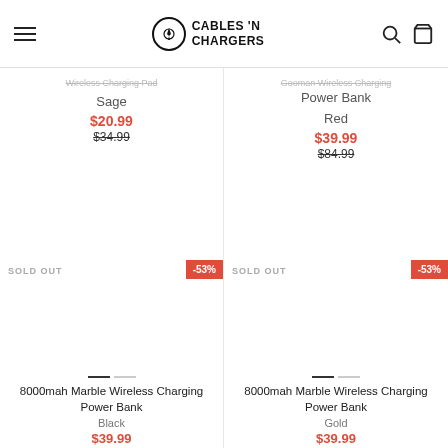Cables N Chargers
Wireless Charging Pad - Sage
$20.99
$34.99
Gooman Wireless Charging Power Bank - Red
$39.99
$84.99
SOLD OUT
-53%
SOLD OUT
-53%
8000mah Marble Wireless Charging Power Bank
Black
$39.99
8000mah Marble Wireless Charging Power Bank
Gold
$39.99